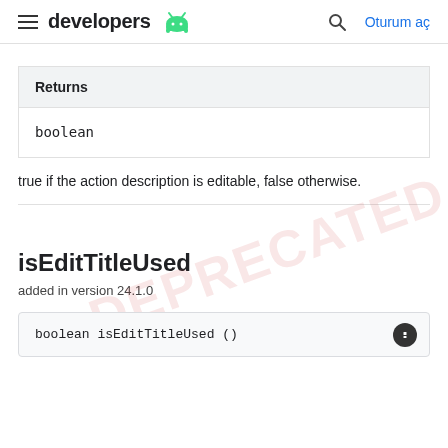developers | Oturum aç
| Returns |
| --- |
| boolean |
true if the action description is editable, false otherwise.
isEditTitleUsed
added in version 24.1.0
boolean isEditTitleUsed ()